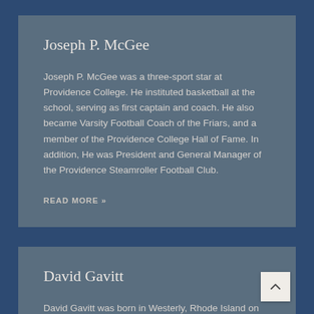Joseph P. McGee
Joseph P. McGee was a three-sport star at Providence College. He instituted basketball at the school, serving as first captain and coach. He also became Varsity Football Coach of the Friars, and a member of the Providence College Hall of Fame. In addition, He was President and General Manager of the Providence Steamroller Football Club.
READ MORE »
David Gavitt
David Gavitt was born in Westerly, Rhode Island on October 26, 1937. He attended Dartmouth College in